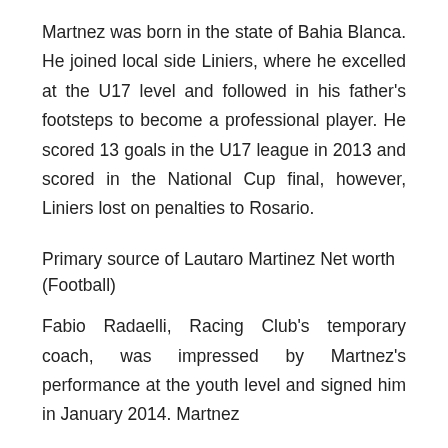Martnez was born in the state of Bahia Blanca. He joined local side Liniers, where he excelled at the U17 level and followed in his father's footsteps to become a professional player. He scored 13 goals in the U17 league in 2013 and scored in the National Cup final, however, Liniers lost on penalties to Rosario.
Primary source of Lautaro Martinez Net worth (Football)
Fabio Radaelli, Racing Club's temporary coach, was impressed by Martnez's performance at the youth level and signed him in January 2014. Martnez